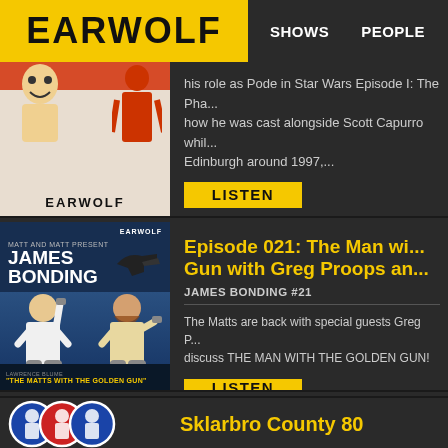EARWOLF | SHOWS | PEOPLE
his role as Pode in Star Wars Episode I: The Ph... how he was cast alongside Scott Capurro while Edinburgh around 1997,...
LISTEN
Episode 021: The Man wi... Gun with Greg Proops an...
JAMES BONDING #21
The Matts are back with special guests Greg P... discuss THE MAN WITH THE GOLDEN GUN!
LISTEN
Sklarbro County 80